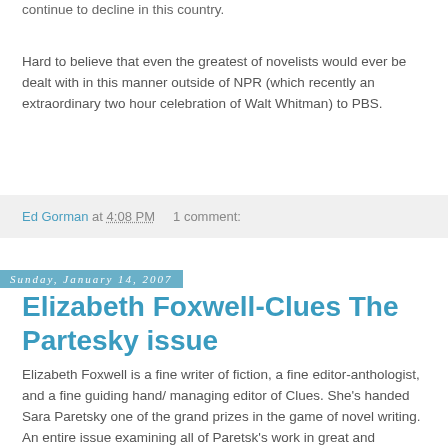continue to decline in this country.
Hard to believe that even the greatest of novelists would ever be dealt with in this manner outside of NPR (which recently an extraordinary two hour celebration of Walt Whitman) to PBS.
Ed Gorman at 4:08 PM    1 comment:
Sunday, January 14, 2007
Elizabeth Foxwell-Clues The Partesky issue
Elizabeth Foxwell is a fine writer of fiction, a fine editor-anthologist, and a fine guiding hand/ managing editor of Clues. She's handed Sara Paretsky one of the grand prizes in the game of novel writing. An entire issue examining all of Paretsk's work in great and enjoyable depth. I can't improve on the piece posted on Rara-Avis tonight. So I'll just run it here. I've read the issue and it's illuminating in every respect.